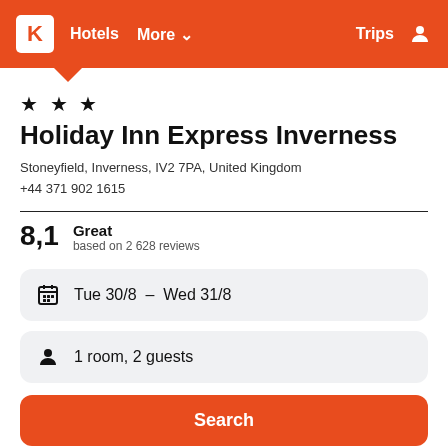K  Hotels  More  Trips
Holiday Inn Express Inverness
Stoneyfield, Inverness, IV2 7PA, United Kingdom
+44 371 902 1615
8,1  Great  based on 2 628 reviews
Tue 30/8  –  Wed 31/8
1 room, 2 guests
Search